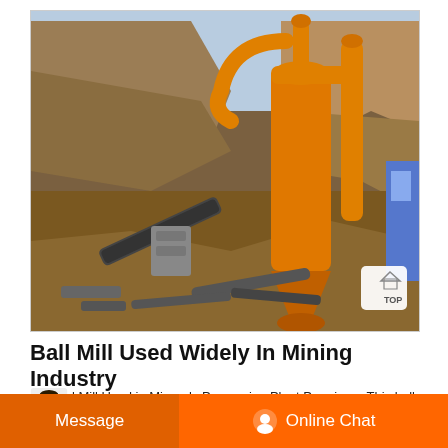[Figure (photo): Outdoor mining site with large orange industrial milling/grinding machine with cyclone separator and pipes. Rocky cliff and excavated terrain in background. Scattered pipes and debris on ground. Blue building visible on right edge. A white rounded-rectangle button with 'TOP' and house icon visible in lower right of image.]
Ball Mill Used Widely In Mining Industry
Ball Mill Used in Minerals Processing Plant Prominer . This ball mill is designed building material field, mining industry to. Bursts the...